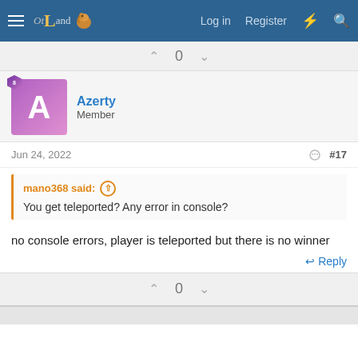OtLand — Log in  Register
0
Azerty
Member
Jun 24, 2022  #17
mano368 said: ↑
You get teleported? Any error in console?
no console errors, player is teleported but there is no winner
↩ Reply
0